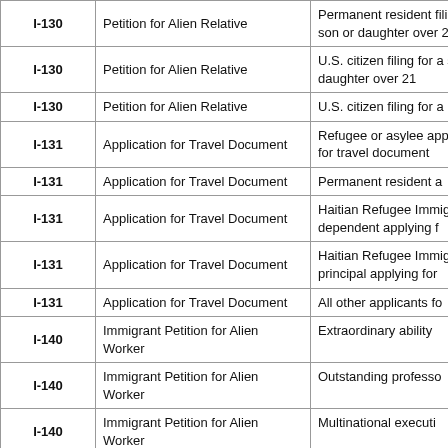| Form | Title | Filing category |
| --- | --- | --- |
| I-130 | Petition for Alien Relative | Permanent resident filing for son or daughter over 21 |
| I-130 | Petition for Alien Relative | U.S. citizen filing for a son or daughter over 21 |
| I-130 | Petition for Alien Relative | U.S. citizen filing for a... |
| I-131 | Application for Travel Document | Refugee or asylee applying for travel document |
| I-131 | Application for Travel Document | Permanent resident a... |
| I-131 | Application for Travel Document | Haitian Refugee Imm... dependent applying f... |
| I-131 | Application for Travel Document | Haitian Refugee Imm... principal applying for... |
| I-131 | Application for Travel Document | All other applicants fo... |
| I-140 | Immigrant Petition for Alien Worker | Extraordinary ability |
| I-140 | Immigrant Petition for Alien Worker | Outstanding professo... |
| I-140 | Immigrant Petition for Alien Worker | Multinational executi... |
| I-140 | Immigrant Petition for Alien Worker | Advanced degree or ... |
| I-140 | Immigrant Petition for Alien Worker | Skilled worker or pro... |
| I-140 | Immigrant Petition for Alien Worker | Unskilled worker |
| I-140 | Immigrant Petition for Alien Worker | Advanced degree or National Interest Wai... |